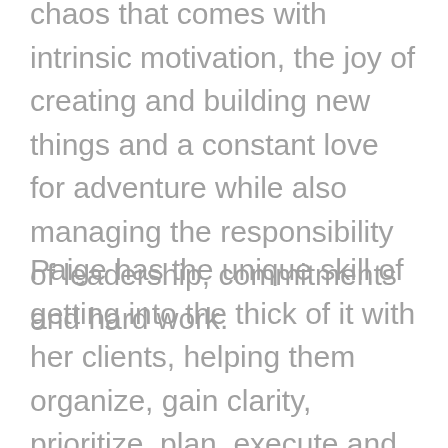chaos that comes with intrinsic motivation, the joy of creating and building new things and a constant love for adventure while also managing the responsibility of leadership, commitments and hard work.
Paige has the unique skill of getting into the thick of it with her clients, helping them organize, gain clarity, prioritize, plan, execute and grow while staying true to their ultimate